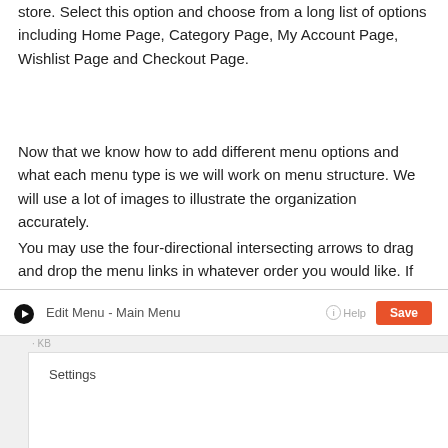store. Select this option and choose from a long list of options including Home Page, Category Page, My Account Page, Wishlist Page and Checkout Page.
Now that we know how to add different menu options and what each menu type is we will work on menu structure. We will use a lot of images to illustrate the organization accurately.
You may use the four-directional intersecting arrows to drag and drop the menu links in whatever order you would like. If you are using a vertical menu the menu items will be listed as they are shown. If you are using a horizontal menu the menu items will be listed from left to right.
[Figure (screenshot): Screenshot of an 'Edit Menu - Main Menu' interface panel showing a Settings section with a Save button and Help link in the top right.]